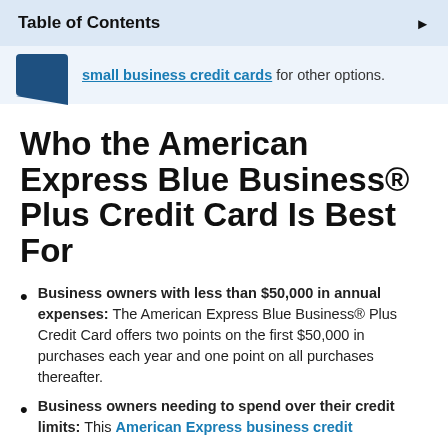Table of Contents
small business credit cards for other options.
Who the American Express Blue Business® Plus Credit Card Is Best For
Business owners with less than $50,000 in annual expenses: The American Express Blue Business® Plus Credit Card offers two points on the first $50,000 in purchases each year and one point on all purchases thereafter.
Business owners needing to spend over their credit limits: This American Express business credit